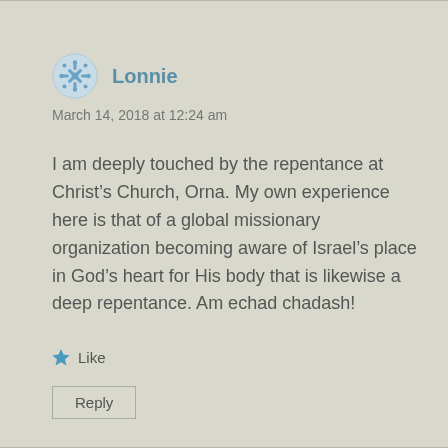Lonnie
March 14, 2018 at 12:24 am
I am deeply touched by the repentance at Christ’s Church, Orna. My own experience here is that of a global missionary organization becoming aware of Israel’s place in God’s heart for His body that is likewise a deep repentance. Am echad chadash!
★ Like
Reply